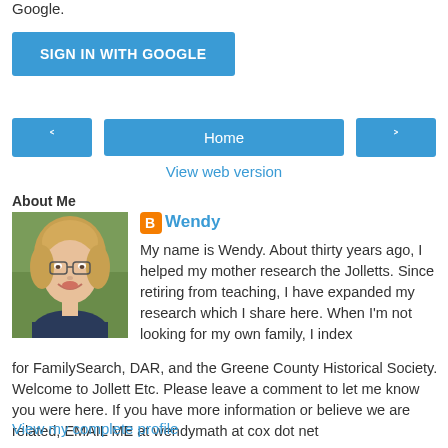Google.
SIGN IN WITH GOOGLE
‹
Home
›
View web version
About Me
[Figure (photo): Portrait photo of Wendy, a middle-aged woman with short blonde hair, smiling, wearing a dark top, outdoors with greenery in background]
Wendy
My name is Wendy. About thirty years ago, I helped my mother research the Jolletts. Since retiring from teaching, I have expanded my research which I share here. When I'm not looking for my own family, I index for FamilySearch, DAR, and the Greene County Historical Society. Welcome to Jollett Etc. Please leave a comment to let me know you were here. If you have more information or believe we are related, EMAIL ME at wendymath at cox dot net
View my complete profile